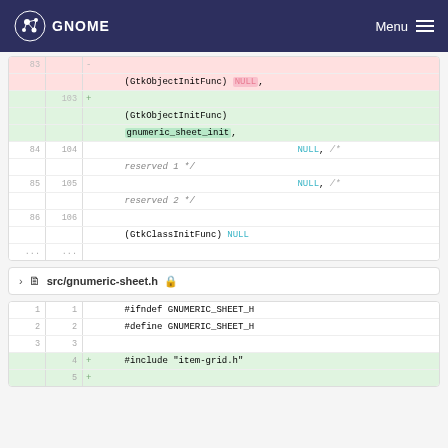GNOME | Menu
[Figure (screenshot): Code diff block showing changes to GtkObjectInitFunc and gnumeric_sheet_init in a source file. Lines 83/removed show (GtkObjectInitFunc) NULL, and lines 103/added show (GtkObjectInitFunc) gnumeric_sheet_init,. Lines 84/104 show NULL /* reserved 1 */, lines 85/105 show NULL /* reserved 2 */, lines 86/106 show (GtkClassInitFunc) NULL.]
src/gnumeric-sheet.h
[Figure (screenshot): Code diff block for src/gnumeric-sheet.h. Lines 1/1: #ifndef GNUMERIC_SHEET_H, 2/2: #define GNUMERIC_SHEET_H, 3/3: empty, +4: #include "item-grid.h", +5: (empty added line).]